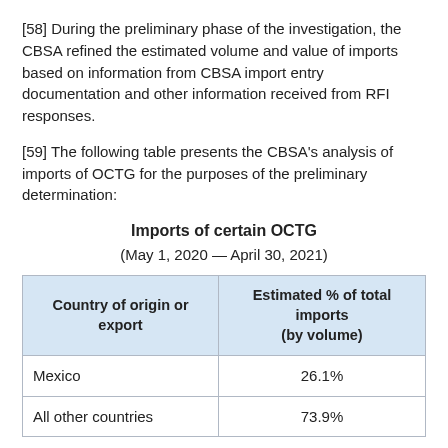[58] During the preliminary phase of the investigation, the CBSA refined the estimated volume and value of imports based on information from CBSA import entry documentation and other information received from RFI responses.
[59] The following table presents the CBSA's analysis of imports of OCTG for the purposes of the preliminary determination:
Imports of certain OCTG
(May 1, 2020 — April 30, 2021)
| Country of origin or export | Estimated % of total imports
(by volume) |
| --- | --- |
| Mexico | 26.1% |
| All other countries | 73.9% |